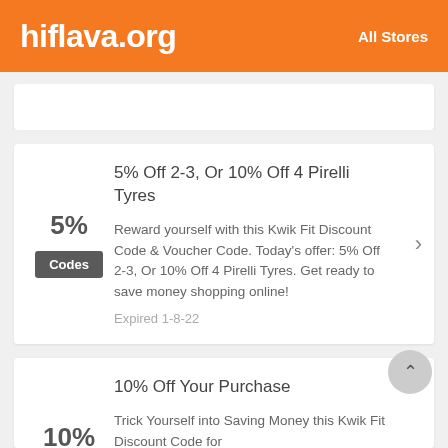hiflava.org   All Stores
5% Off 2-3, Or 10% Off 4 Pirelli Tyres
Reward yourself with this Kwik Fit Discount Code & Voucher Code. Today's offer: 5% Off 2-3, Or 10% Off 4 Pirelli Tyres. Get ready to save money shopping online!
Expired 1-8-22
10% Off Your Purchase
Trick Yourself into Saving Money this Kwik Fit Discount Code for